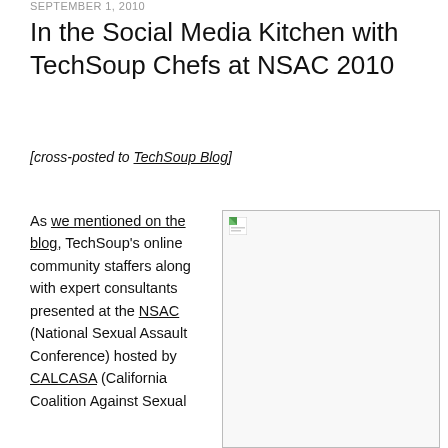SEPTEMBER 1, 2010
In the Social Media Kitchen with TechSoup Chefs at NSAC 2010
[cross-posted to TechSoup Blog]
As we mentioned on the blog, TechSoup's online community staffers along with expert consultants presented at the NSAC (National Sexual Assault Conference) hosted by CALCASA (California Coalition Against Sexual
[Figure (photo): A photo placeholder (broken image icon) with a white background and thin gray border.]